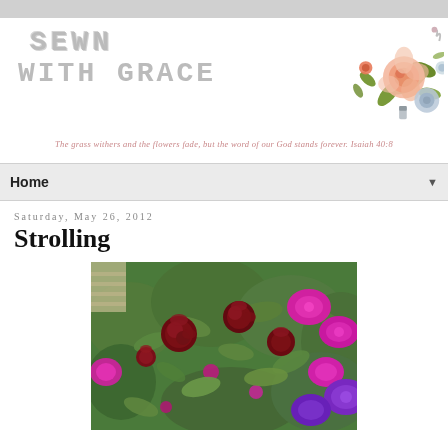[Figure (logo): Sewn With Grace blog header with cross-stitch style text and decorative floral illustration in top right corner]
The grass withers and the flowers fade, but the word of our God stands forever. Isaiah 40:8
Home ▼
Saturday, May 26, 2012
Strolling
[Figure (photo): Garden photograph showing red roses and magenta/purple petunias with green foliage]